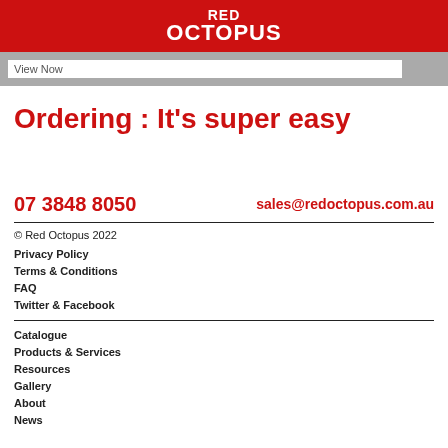RED OCTOPUS
View Now
Ordering : It's super easy
07 3848 8050
sales@redoctopus.com.au
© Red Octopus 2022
Privacy Policy
Terms & Conditions
FAQ
Twitter & Facebook
Catalogue
Products & Services
Resources
Gallery
About
News